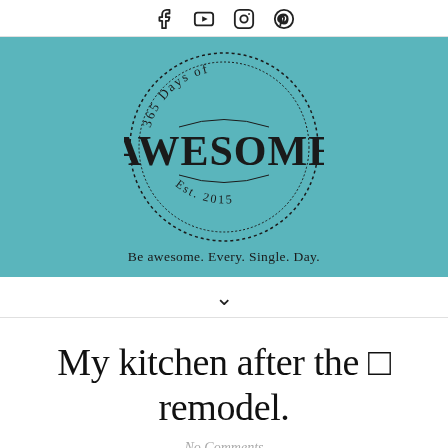Social icons: Facebook, YouTube, Instagram, Pinterest
[Figure (logo): 365 Days of AWESOME Est. 2015 stamp logo on teal/turquoise background with tagline: Be awesome. Every. Single. Day.]
Be awesome. Every. Single. Day.
▾
My kitchen after the 🔲 remodel.
No Comments